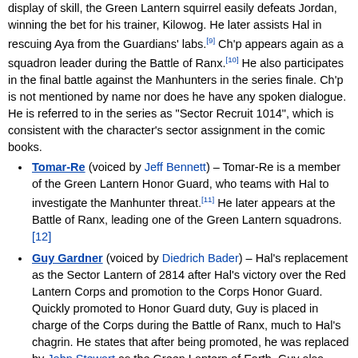display of skill, the Green Lantern squirrel easily defeats Jordan, winning the bet for his trainer, Kilowog. He later assists Hal in rescuing Aya from the Guardians' labs.[9] Ch'p appears again as a squadron leader during the Battle of Ranx.[10] He also participates in the final battle against the Manhunters in the series finale. Ch'p is not mentioned by name nor does he have any spoken dialogue. He is referred to in the series as "Sector Recruit 1014", which is consistent with the character's sector assignment in the comic books.
Tomar-Re (voiced by Jeff Bennett) – Tomar-Re is a member of the Green Lantern Honor Guard, who teams with Hal to investigate the Manhunter threat.[11] He later appears at the Battle of Ranx, leading one of the Green Lantern squadrons. [12]
Guy Gardner (voiced by Diedrich Bader) – Hal's replacement as the Sector Lantern of 2814 after Hal's victory over the Red Lantern Corps and promotion to the Corps Honor Guard. Quickly promoted to Honor Guard duty, Guy is placed in charge of the Corps during the Battle of Ranx, much to Hal's chagrin. He states that after being promoted, he was replaced by John Stewart as the Green Lantern of Earth. Guy also leads the Corps against Aya's Manhunters in the series finale.
Sinestro (voiced by Ron Perlman) – Considered one of the